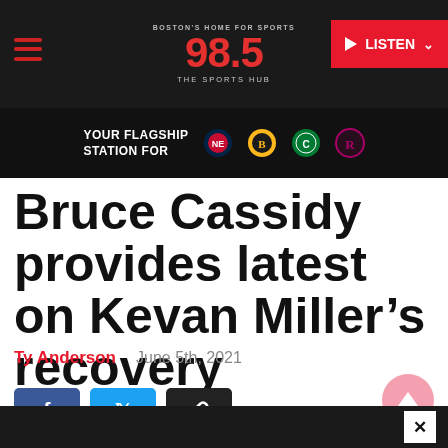98.5 The Sports Hub - Boston's Home For Sports
YOUR FLAGSHIP STATION FOR
Bruce Cassidy provides latest on Kevan Miller's recovery
Ty Anderson   June 5th, 2021
[Figure (screenshot): Social share buttons: Facebook (blue), Twitter (cyan), Link (dark)]